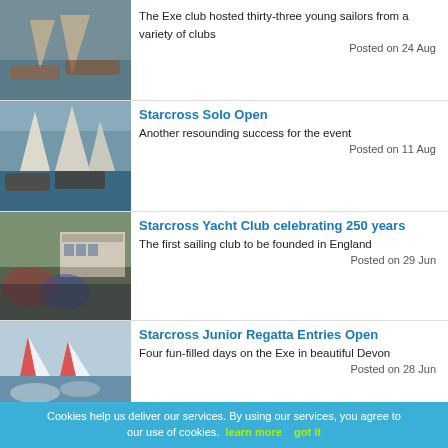[Figure (photo): Sailboats on water, partial view at top of page]
The Exe club hosted thirty-three young sailors from a variety of clubs
Posted on 24 Aug
[Figure (photo): Multiple sailboats on water]
Starcross Solo Open
Another resounding success for the event
Posted on 11 Aug
[Figure (photo): Crowd at yacht club building]
Starcross Yacht Club celebrating 250 years
The first sailing club to be founded in England
Posted on 29 Jun
[Figure (photo): Small sailboats on water]
Starcross Junior Regatta Entries Open
Four fun-filled days on the Exe in beautiful Devon
Posted on 28 Jun
[Figure (photo): Sailboat partial view]
Starcross Yacht Club sailors success
At RYA Regional Junior Championships
Cookies help us deliver our services. By using our services, you agree to our use of cookies. learn more   got it